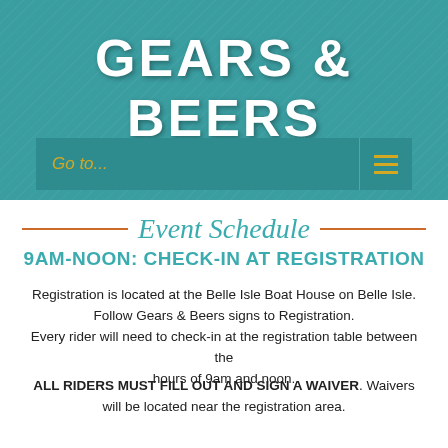GEARS & BEERS
Go to...
Event Schedule
9AM-NOON: CHECK-IN AT REGISTRATION
Registration is located at the Belle Isle Boat House on Belle Isle. Follow Gears & Beers signs to Registration. Every rider will need to check-in at the registration table between the hours of 9am and noon.
ALL RIDERS MUST FILL OUT AND SIGN A WAIVER. Waivers will be located near the registration area.